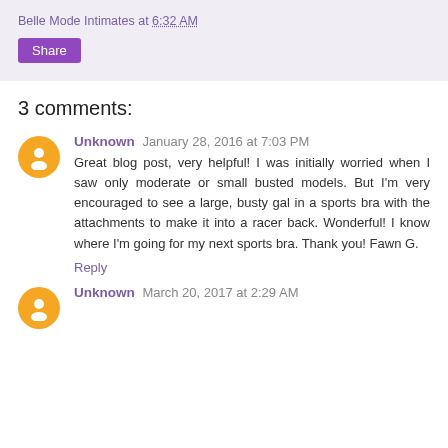Belle Mode Intimates at 6:32 AM
Share
3 comments:
Unknown  January 28, 2016 at 7:03 PM
Great blog post, very helpful! I was initially worried when I saw only moderate or small busted models. But I'm very encouraged to see a large, busty gal in a sports bra with the attachments to make it into a racer back. Wonderful! I know where I'm going for my next sports bra. Thank you! Fawn G.
Reply
Unknown  March 20, 2017 at 2:29 AM